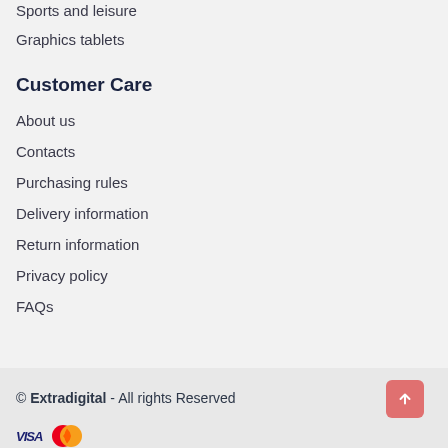Sports and leisure
Graphics tablets
Customer Care
About us
Contacts
Purchasing rules
Delivery information
Return information
Privacy policy
FAQs
© Extradigital - All rights Reserved